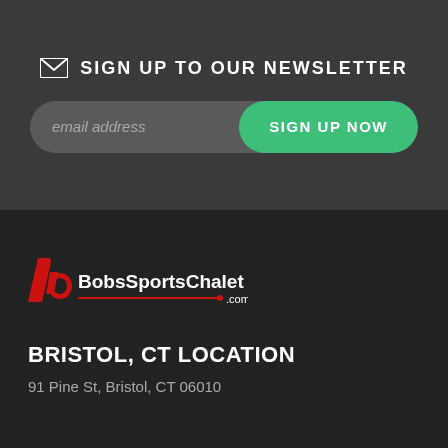SIGN UP TO OUR NEWSLETTER
[Figure (screenshot): Email newsletter signup form with email address input field and SIGN UP NOW button]
[Figure (logo): BobsSportsChalet.com logo with red stylized letter b and white text]
BRISTOL, CT LOCATION
91 Pine St, Bristol, CT 06010